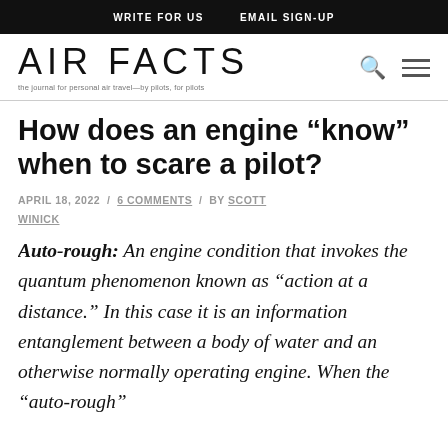WRITE FOR US   EMAIL SIGN-UP
[Figure (logo): AIR FACTS logo with tagline 'the journal for personal air travel—by pilots, for pilots']
How does an engine “know” when to scare a pilot?
APRIL 18, 2022 / 6 COMMENTS / BY SCOTT WINICK
Auto-rough: An engine condition that invokes the quantum phenomenon known as “action at a distance.” In this case it is an information entanglement between a body of water and an otherwise normally operating engine. When the “auto-rough”